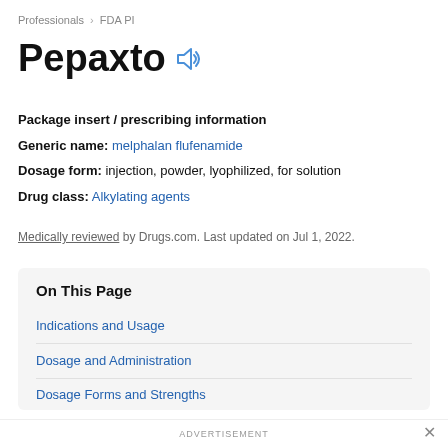Professionals > FDA PI
Pepaxto
Package insert / prescribing information
Generic name: melphalan flufenamide
Dosage form: injection, powder, lyophilized, for solution
Drug class: Alkylating agents
Medically reviewed by Drugs.com. Last updated on Jul 1, 2022.
On This Page
Indications and Usage
Dosage and Administration
Dosage Forms and Strengths